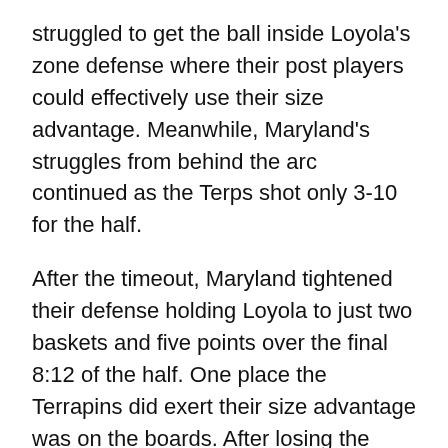struggled to get the ball inside Loyola's zone defense where their post players could effectively use their size advantage. Meanwhile, Maryland's struggles from behind the arc continued as the Terps shot only 3-10 for the half.
After the timeout, Maryland tightened their defense holding Loyola to just two baskets and five points over the final 8:12 of the half. One place the Terrapins did exert their size advantage was on the boards. After losing the rebounding battle to GW Saturday, Maryland asserted themselves on the glass finishing the half with a 20-11 advantage that contributed significantly to their 38-26 lead.
Second half - Too deep
Although they didn't start the half well, turning the ball